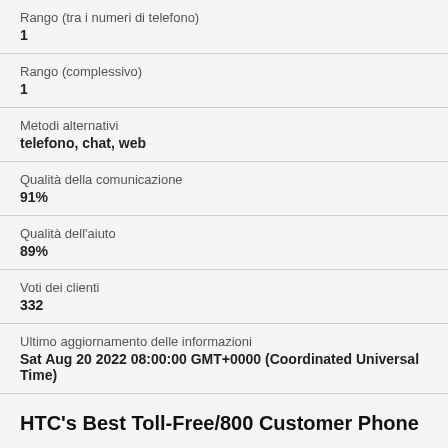| Rango (tra i numeri di telefono) | 1 |
| Rango (complessivo) | 1 |
| Metodi alternativi | telefono, chat, web |
| Qualità della comunicazione | 91% |
| Qualità dell'aiuto | 89% |
| Voti dei clienti | 332 |
| Ultimo aggiornamento delle informazioni | Sat Aug 20 2022 08:00:00 GMT+0000 (Coordinated Universal Time) |
HTC's Best Toll-Free/800 Customer Phone